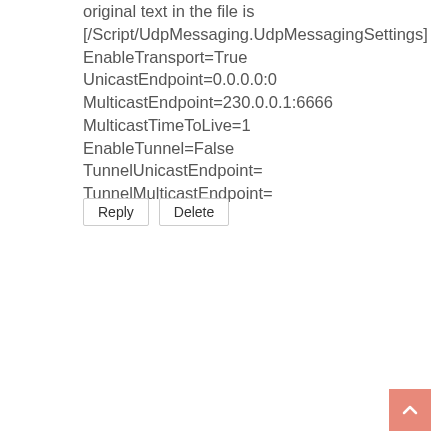original text in the file is
[/Script/UdpMessaging.UdpMessagingSettings]
EnableTransport=True
UnicastEndpoint=0.0.0.0:0
MulticastEndpoint=230.0.0.1:6666
MulticastTimeToLive=1
EnableTunnel=False
TunnelUnicastEndpoint=
TunnelMulticastEndpoint=
Reply   Delete